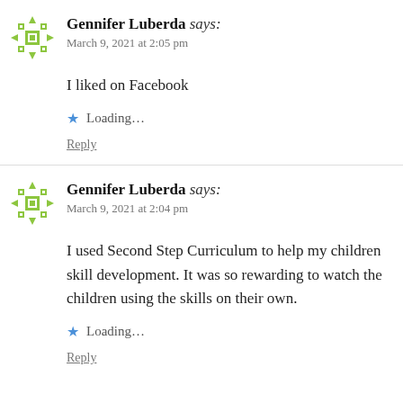Gennifer Luberda says:
March 9, 2021 at 2:05 pm

I liked on Facebook

Loading...

Reply
Gennifer Luberda says:
March 9, 2021 at 2:04 pm

I used Second Step Curriculum to help my children skill development. It was so rewarding to watch the children using the skills on their own.

Loading...

Reply